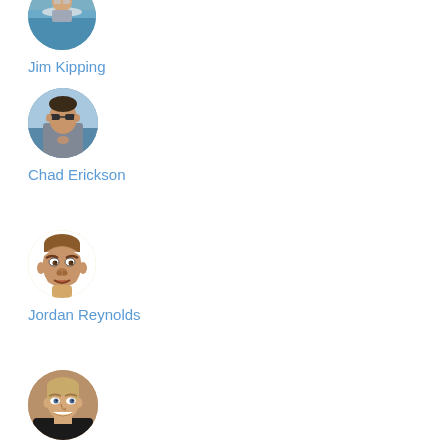[Figure (photo): Partially cropped circular avatar photo of Jim Kipping at top of page]
Jim Kipping
[Figure (photo): Circular avatar photo of Chad Erickson, man with sunglasses on a boat]
Chad Erickson
[Figure (illustration): Circular avatar illustration of Jordan Reynolds, caricature cartoon face]
Jordan Reynolds
[Figure (photo): Partially visible circular avatar photo of a fourth person at the bottom of the page]